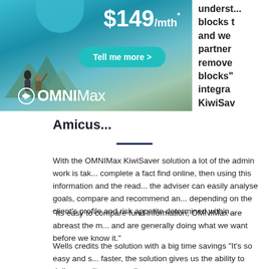[Figure (illustration): OMNIMax advertisement banner showing two people sitting on a mountain ridge. Price displayed as $149/mth* with a teal 'Tell me more >' button and OMNIMax logo at bottom left.]
understand blocks to and we partner remove blocks" integra KiwiSav
Amicus...
With the OMNIMax KiwiSaver solution a lot of the admin work is taken care of. Clients complete a fact find online, then using this information and the ready-made templates, the adviser can easily analyse goals, compare and recommend any KiwiSaver funds depending on the client's profile and risk appetite determined within the system.
“Its easy to compare fund information, OMNIMax are abreast the market changes and are generally doing what we want before we know it.”
Wells credits the solution with a big time savings “It’s so easy and so much faster, the solution gives us the ability to deliver quality personalise